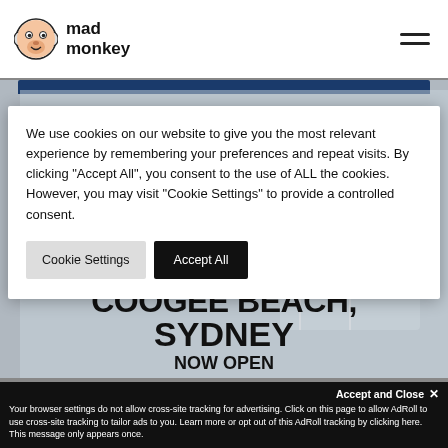mad monkey
[Figure (screenshot): Mad Monkey hostel website screenshot showing cookie consent modal overlay on top of a hero image for Coogee Beach, Sydney hostel. The modal contains cookie consent text and two buttons: Cookie Settings and Accept All. A blue bar is visible at the top of the hero image.]
We use cookies on our website to give you the most relevant experience by remembering your preferences and repeat visits. By clicking "Accept All", you consent to the use of ALL the cookies. However, you may visit "Cookie Settings" to provide a controlled consent.
Cookie Settings
Accept All
COOGEE BEACH, SYDNEY
NOW OPEN
Accept and Close ✕
Your browser settings do not allow cross-site tracking for advertising. Click on this page to allow AdRoll to use cross-site tracking to tailor ads to you. Learn more or opt out of this AdRoll tracking by clicking here. This message only appears once.